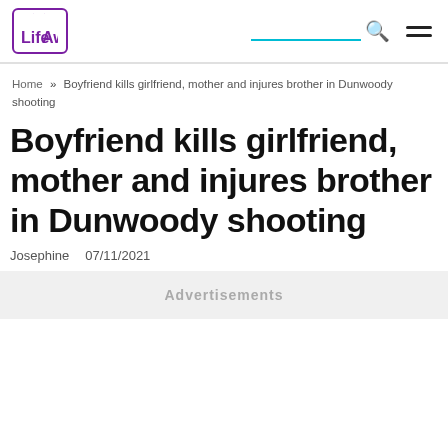LifeAwesome
Home » Boyfriend kills girlfriend, mother and injures brother in Dunwoody shooting
Boyfriend kills girlfriend, mother and injures brother in Dunwoody shooting
Josephine  07/11/2021
Advertisements